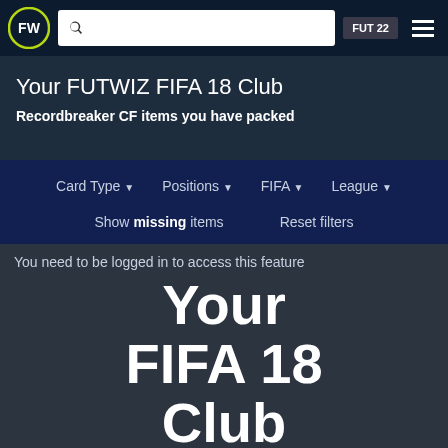FUTWIZ FUT 22
Your FUTWIZ FIFA 18 Club
Recordbreaker CF items you have packed
Card Type ▾   Positions ▾   FIFA ▾   League ▾
Show missing items   Reset filters
You need to be logged in to access this feature
Your FIFA 18 Club Value
0